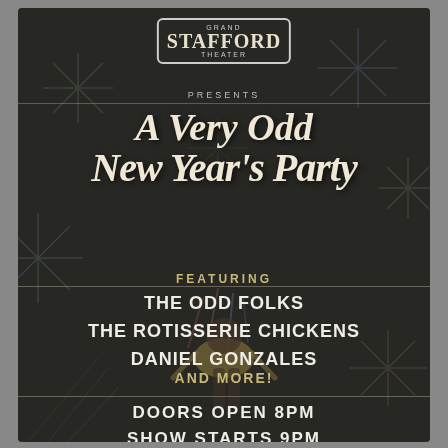[Figure (illustration): Event poster for Grand Stafford Theater with dark background, fireworks illustrations, and a stylized figure]
Grand Stafford Theater presents A Very Odd New Year's Party
FEATURING
THE ODD FOLKS
THE ROTISSERIE CHICKENS
DANIEL GONZALES
AND MORE!
DOORS OPEN 8PM
SHOW STARTS 9PM